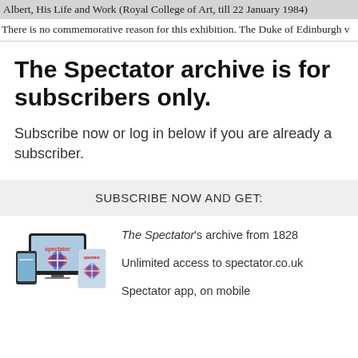Albert, His Life and Work (Royal College of Art, till 22 January 1984)
There is no commemorative reason for this exhibition. The Duke of Edinburgh v
The Spectator archive is for subscribers only.
Subscribe now or log in below if you are already a subscriber.
SUBSCRIBE NOW AND GET:
[Figure (illustration): Image of The Spectator on multiple devices including tablet, phone and print edition showing the magazine cover with a Union Jack butterfly design]
The Spectator's archive from 1828
Unlimited access to spectator.co.uk
Spectator app, on mobile